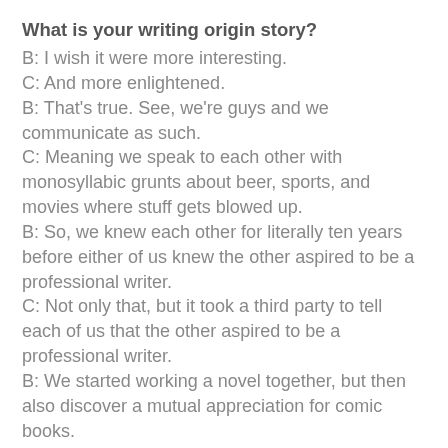What is your writing origin story?
B: I wish it were more interesting.
C: And more enlightened.
B: That's true. See, we're guys and we communicate as such.
C: Meaning we speak to each other with monosyllabic grunts about beer, sports, and movies where stuff gets blowed up.
B: So, we knew each other for literally ten years before either of us knew the other aspired to be a professional writer.
C: Not only that, but it took a third party to tell each of us that the other aspired to be a professional writer.
B: We started working a novel together, but then also discover a mutual appreciation for comic books.